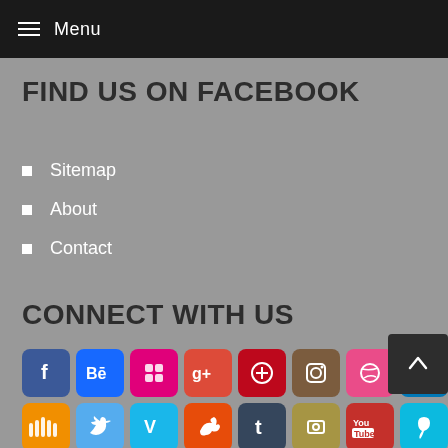Menu
FIND US ON FACEBOOK
Sitemap
About
Contact
CONNECT WITH US
[Figure (infographic): Grid of social media icon buttons: Facebook, Behance, Flickr, Google+, Pinterest, Instagram, Dribbble, LinkedIn (row 1); SoundCloud, Twitter, Vimeo, StumbleUpon, Tumblr, GitHub, YouTube, Foursquare (row 2); partial row 3 with orange and blue icons visible at bottom.]